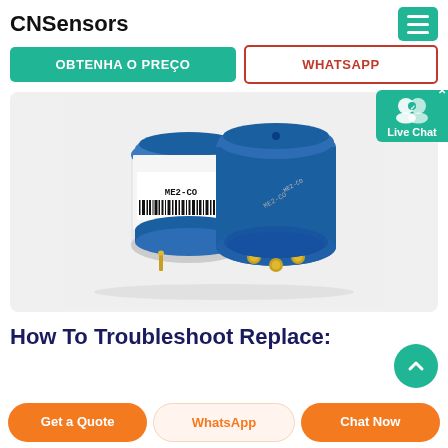CNSensors
OBTENHA O PREÇO
WHATSAPP
[Figure (photo): Two cylindrical sensor modules with blue tops and barcode labels reading ME2-CO and 6J29XX, with gold pins visible on one sensor.]
How To Troubleshoot Replace:
Get a Quote
WhatsApp
Chat Now